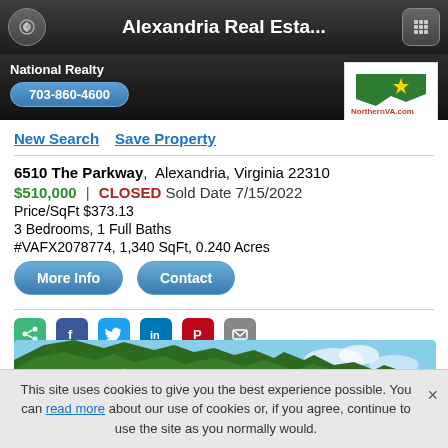Alexandria Real Esta...
National Realty
703-860-4600
New Search   Save Property
6510 The Parkway, Alexandria, Virginia 22310
$510,000 | CLOSED Sold Date 7/15/2022
Price/SqFt $373.13
3 Bedrooms, 1 Full Baths
#VAFX2078774, 1,340 SqFt, 0.240 Acres
[Figure (photo): Property photo showing green trees and blue sky]
This site uses cookies to give you the best experience possible. You can read more about our use of cookies or, if you agree, continue to use the site as you normally would.